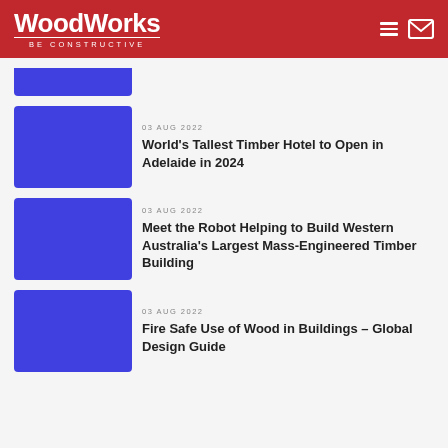WoodWorks BE CONSTRUCTIVE
[Figure (illustration): Blue placeholder image thumbnail (partially visible at top)]
03 AUG 2022
World's Tallest Timber Hotel to Open in Adelaide in 2024
03 AUG 2022
Meet the Robot Helping to Build Western Australia's Largest Mass-Engineered Timber Building
03 AUG 2022
Fire Safe Use of Wood in Buildings – Global Design Guide